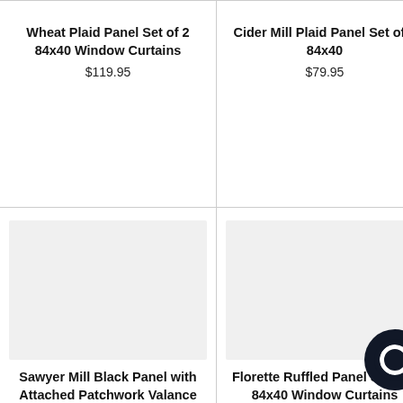Wheat Plaid Panel Set of 2 84x40 Window Curtains
$119.95
Cider Mill Plaid Panel Set of 2 84x40
$79.95
[Figure (photo): Product image placeholder for Sawyer Mill Black Panel with Attached Patchwork Valance Set of 2 84x40]
Sawyer Mill Black Panel with Attached Patchwork Valance Set of 2 84x40
$99.95
[Figure (photo): Product image placeholder for Florette Ruffled Panel Set of 2 84x40 Window Curtains]
Florette Ruffled Panel Set of 2 84x40 Window Curtains
From $63.95